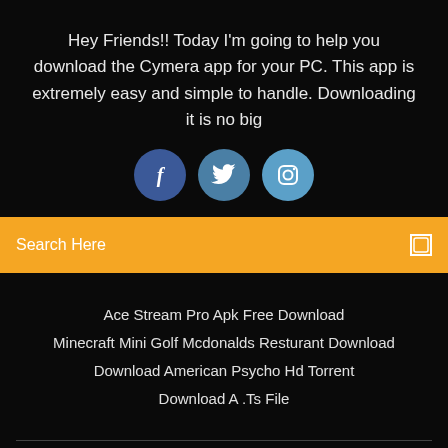Hey Friends!! Today I'm going to help you download the Cymera app for your PC. This app is extremely easy and simple to handle. Downloading it is no big
[Figure (illustration): Three social media icon circles: Facebook (dark blue), Twitter (medium blue), Instagram (light blue)]
Search Here
Ace Stream Pro Apk Free Download
Minecraft Mini Golf Mcdonalds Resturant Download
Download American Psycho Hd Torrent
Download A .Ts File
Copyright ©2022 All rights reserved